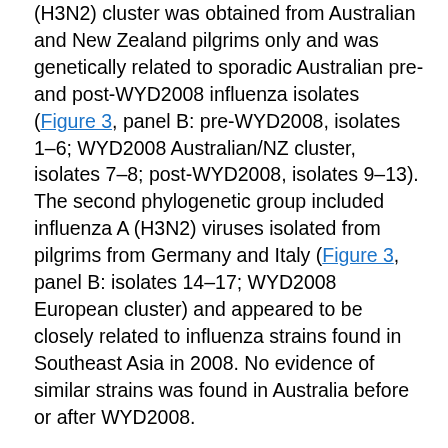(H3N2) cluster was obtained from Australian and New Zealand pilgrims only and was genetically related to sporadic Australian pre- and post-WYD2008 influenza isolates (Figure 3, panel B: pre-WYD2008, isolates 1–6; WYD2008 Australian/NZ cluster, isolates 7–8; post-WYD2008, isolates 9–13). The second phylogenetic group included influenza A (H3N2) viruses isolated from pilgrims from Germany and Italy (Figure 3, panel B: isolates 14–17; WYD2008 European cluster) and appeared to be closely related to influenza strains found in Southeast Asia in 2008. No evidence of similar strains was found in Australia before or after WYD2008.
Before WYD2008, only 4 cases of influenza B/Malaysia–like virus infection were identified Australia-wide (Figure 2). Two isolates from NSW were found to be distinct from WYD2008 isolates by